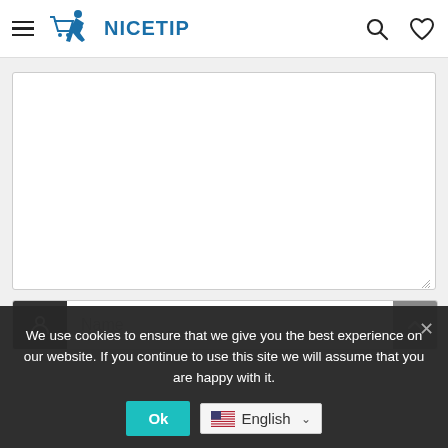NICETIP
[Figure (screenshot): Textarea input field (empty, white background, resizable)]
[Figure (screenshot): Name input field with dark user icon on left, placeholder text 'Name']
We use cookies to ensure that we give you the best experience on our website. If you continue to use this site we will assume that you are happy with it.